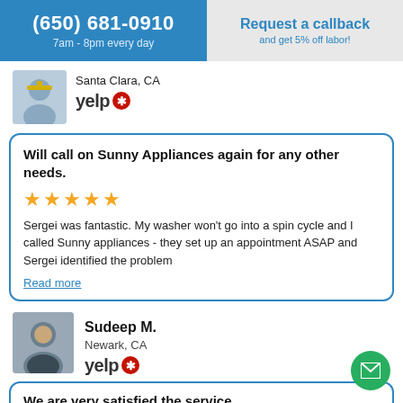(650) 681-0910 | 7am - 8pm every day | Request a callback | and get 5% off labor!
Santa Clara, CA
[Figure (logo): Yelp logo with red burst icon]
Will call on Sunny Appliances again for any other needs. ★★★★★ Sergei was fantastic. My washer won't go into a spin cycle and I called Sunny appliances - they set up an appointment ASAP and Sergei identified the problem Read more
Sudeep M.
Newark, CA
[Figure (logo): Yelp logo with red burst icon]
We are very satisfied the service...